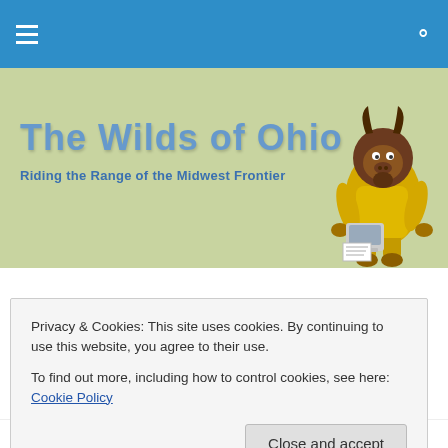Navigation bar with hamburger menu and search icon
[Figure (illustration): Banner for 'The Wilds of Ohio' blog with title text, subtitle 'Riding the Range of the Midwest Frontier', and a cartoon GNU character in yellow clothing sitting at a computer on a sage-green background]
TAGGED WITH PUB
Memory Jogging
Privacy & Cookies: This site uses cookies. By continuing to use this website, you agree to their use.
To find out more, including how to control cookies, see here: Cookie Policy
the point of Alzheimer's or dementia (though for the latter,